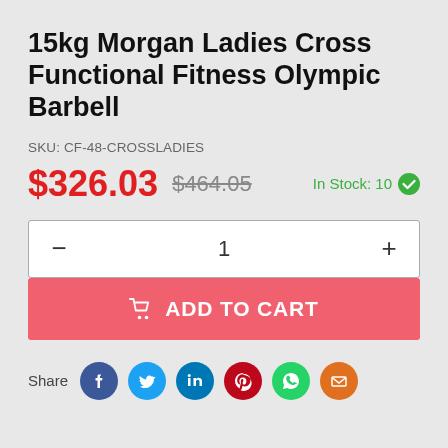15kg Morgan Ladies Cross Functional Fitness Olympic Barbell
SKU: CF-48-CROSSLADIES
$326.03  $464.05  In Stock: 10
- 1 +
ADD TO CART
Share